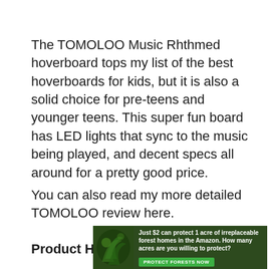The TOMOLOO Music Rhthmed hoverboard tops my list of the best hoverboards for kids, but it is also a solid choice for pre-teens and younger teens. This super fun board has LED lights that sync to the music being played, and decent specs all around for a pretty good price.
You can also read my more detailed TOMOLOO review here.
Product Highlights
[Figure (infographic): Advertisement banner: forest/Amazon conservation ad. Text reads 'Just $2 can protect 1 acre of irreplaceable forest homes in the Amazon. How many acres are you willing to protect?' with a green 'PROTECT FORESTS NOW' button.]